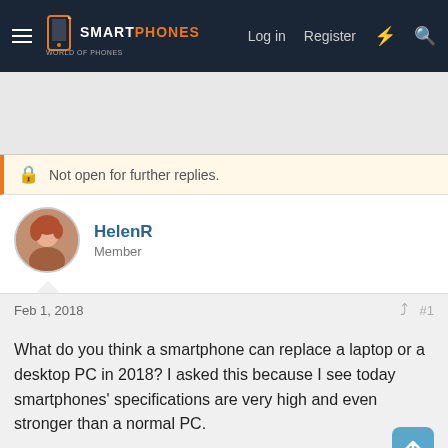SMARTPHONES — Log in | Register
Not open for further replies.
HelenR
Member
Feb 1, 2018   #1
What do you think a smartphone can replace a laptop or a desktop PC in 2018? I asked this because I see today smartphones' specifications are very high and even stronger than a normal PC.

Your comments would be appreciated.
aresmart18